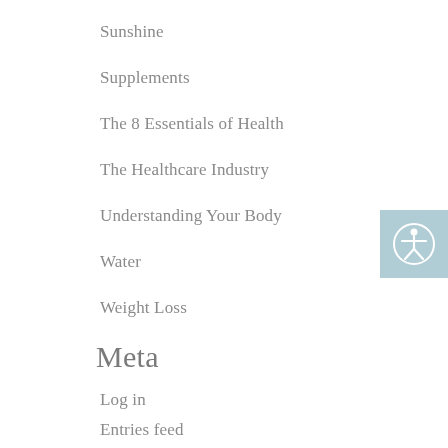Sunshine
Supplements
The 8 Essentials of Health
The Healthcare Industry
Understanding Your Body
Water
Weight Loss
Meta
Log in
Entries feed